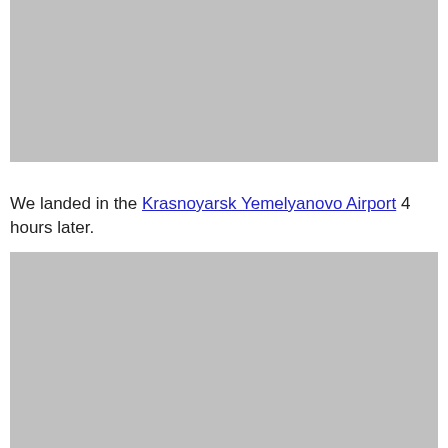[Figure (photo): Gray placeholder image (top)]
We landed in the Krasnoyarsk Yemelyanovo Airport 4 hours later.
[Figure (photo): Gray placeholder image (bottom)]